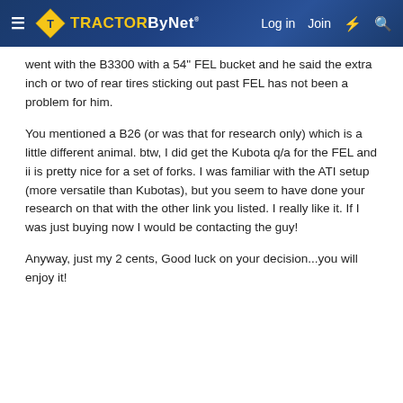TractorByNet — Log in   Join
went with the B3300 with a 54" FEL bucket and he said the extra inch or two of rear tires sticking out past FEL has not been a problem for him.
You mentioned a B26 (or was that for research only) which is a little different animal. btw, I did get the Kubota q/a for the FEL and ii is pretty nice for a set of forks. I was familiar with the ATI setup (more versatile than Kubotas), but you seem to have done your research on that with the other link you listed. I really like it. If I was just buying now I would be contacting the guy!
Anyway, just my 2 cents, Good luck on your decision...you will enjoy it!